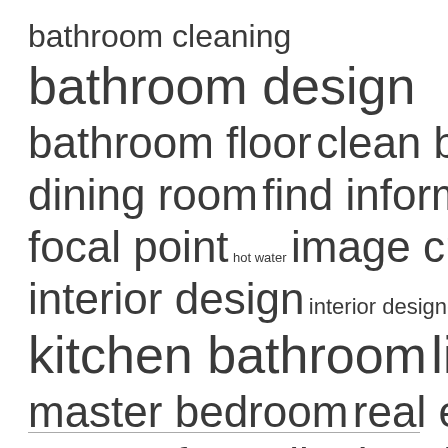[Figure (infographic): Tag cloud listing keywords related to home and bathroom topics at varying font sizes indicating frequency/importance. Tags include: bathroom cleaning, bathroom design, bathroom floor, clean bathroom, dining room, find information, focal point, hot water, image credit, interior design, interior designer, kitchen bathroom, living room, master bedroom, real estate, square feet, toilet brush, united states.]